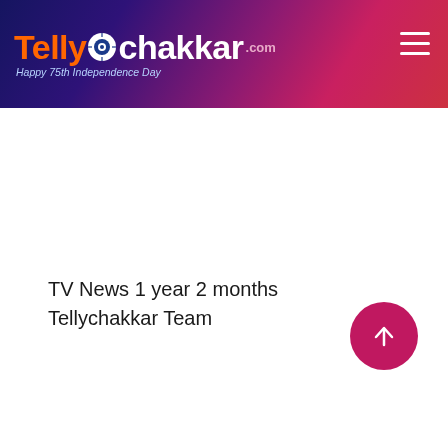TellyChakkar.com — Happy 75th Independence Day
TV News 1 year 2 months Tellychakkar Team